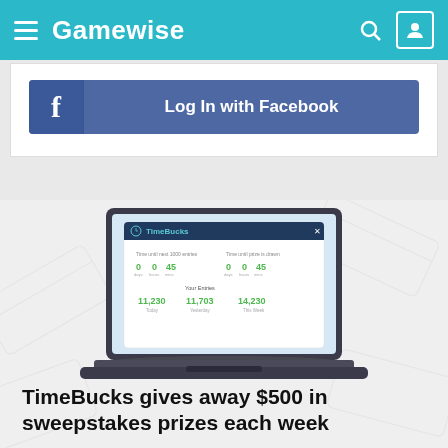Gamewise
[Figure (screenshot): Facebook Log In button with 'f' icon on the left and text 'Log In with Facebook' on a blue/indigo background]
[Figure (screenshot): Laptop showing the TimeBucks website with countdown timers and earnings stats, set against a faint background of lottery tickets]
TimeBucks gives away $500 in sweepstakes prizes each week